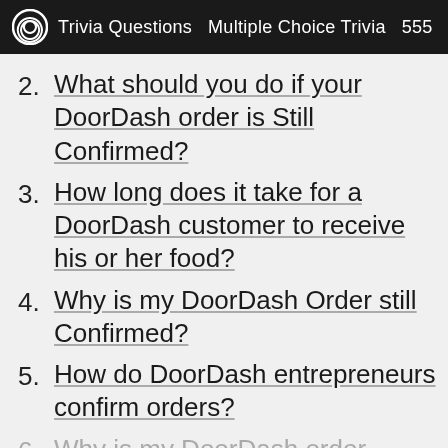Trivia Questions  Multiple Choice Trivia  555
2. What should you do if your DoorDash order is Still Confirmed?
3. How long does it take for a DoorDash customer to receive his or her food?
4. Why is my DoorDash Order still Confirmed?
5. How do DoorDash entrepreneurs confirm orders?
6. Why is my DoorDash order taking longer than usual?